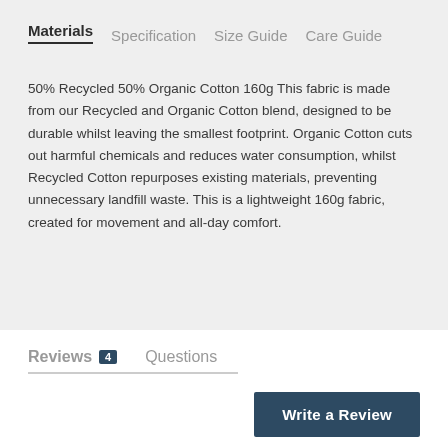Materials  Specification  Size Guide  Care Guide
50% Recycled 50% Organic Cotton 160g This fabric is made from our Recycled and Organic Cotton blend, designed to be durable whilst leaving the smallest footprint. Organic Cotton cuts out harmful chemicals and reduces water consumption, whilst Recycled Cotton repurposes existing materials, preventing unnecessary landfill waste. This is a lightweight 160g fabric, created for movement and all-day comfort.
Reviews 4  Questions
Write a Review